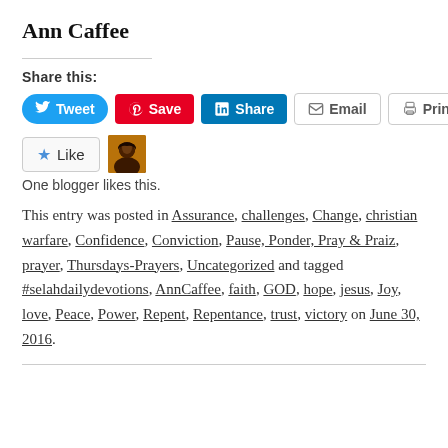Ann Caffee
Share this:
[Figure (screenshot): Social share buttons: Tweet (Twitter, blue pill), Save (Pinterest, red), Share (LinkedIn, blue), Email (grey outline), Print (grey outline)]
[Figure (screenshot): Like button with star icon and blogger avatar thumbnail. One blogger likes this.]
One blogger likes this.
This entry was posted in Assurance, challenges, Change, christian warfare, Confidence, Conviction, Pause, Ponder, Pray & Praiz, prayer, Thursdays-Prayers, Uncategorized and tagged #selahdailydevotions, AnnCaffee, faith, GOD, hope, jesus, Joy, love, Peace, Power, Repent, Repentance, trust, victory on June 30, 2016.